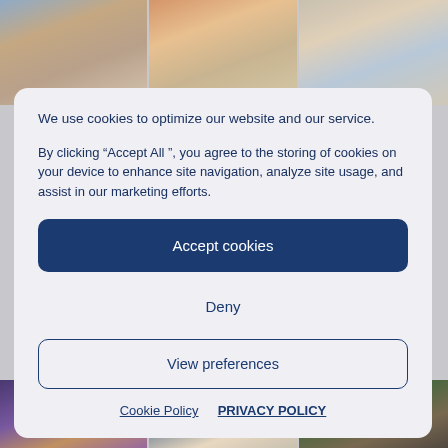[Figure (photo): Three photos of groups of people at social/networking events, top strip]
We use cookies to optimize our website and our service.
By clicking “Accept All ”, you agree to the storing of cookies on your device to enhance site navigation, analyze site usage, and assist in our marketing efforts.
Accept cookies
Deny
View preferences
Cookie Policy   PRIVACY POLICY
[Figure (photo): Three photos of groups of people at social/networking events, bottom strip]